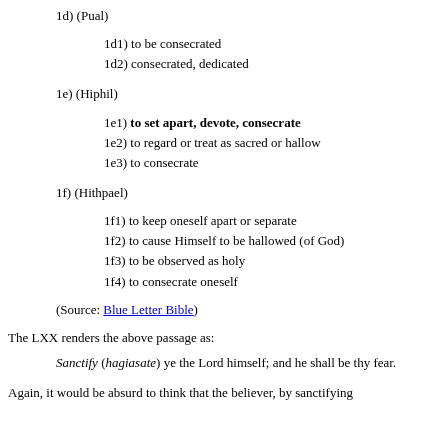1d) (Pual)
1d1) to be consecrated
1d2) consecrated, dedicated
1e) (Hiphil)
1e1) to set apart, devote, consecrate
1e2) to regard or treat as sacred or hallow
1e3) to consecrate
1f) (Hithpael)
1f1) to keep oneself apart or separate
1f2) to cause Himself to be hallowed (of God)
1f3) to be observed as holy
1f4) to consecrate oneself
(Source: Blue Letter Bible)
The LXX renders the above passage as:
Sanctify (hagiasate) ye the Lord himself; and he shall be thy fear.
Again, it would be absurd to think that the believer, by sanctifying